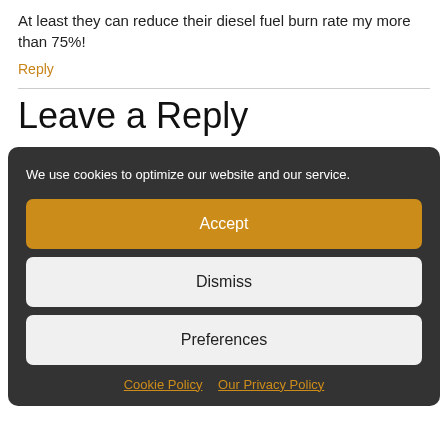At least they can reduce their diesel fuel burn rate my more than 75%!
Reply
Leave a Reply
We use cookies to optimize our website and our service.
Accept
Dismiss
Preferences
Cookie Policy   Our Privacy Policy